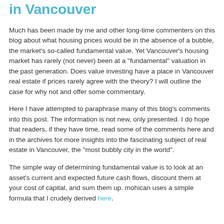in Vancouver
Much has been made by me and other long-time commenters on this blog about what housing prices would be in the absence of a bubble, the market's so-called fundamental value. Yet Vancouver's housing market has rarely (not never) been at a "fundamental" valuation in the past generation. Does value investing have a place in Vancouver real estate if prices rarely agree with the theory? I will outline the case for why not and offer some commentary.
Here I have attempted to paraphrase many of this blog's comments into this post. The information is not new, only presented. I do hope that readers, if they have time, read some of the comments here and in the archives for more insights into the fascinating subject of real estate in Vancouver, the "most bubbly city in the world".
The simple way of determining fundamental value is to look at an asset's current and expected future cash flows, discount them at your cost of capital, and sum them up. mohican uses a simple formula that I crudely derived here.